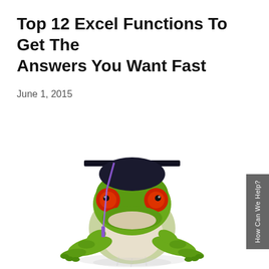Top 12 Excel Functions To Get The Answers You Want Fast
June 1, 2015
[Figure (photo): A green tree frog wearing a black graduation cap with a purple tassel, sitting on a reflective white surface. The frog has bright red eyes and is facing forward in a humorous academic pose.]
How Can We Help?